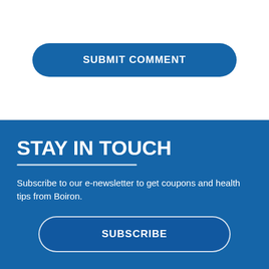[Figure (screenshot): Blue rounded-rectangle button labeled SUBMIT COMMENT on white background]
STAY IN TOUCH
Subscribe to our e-newsletter to get coupons and health tips from Boiron.
[Figure (screenshot): Dark blue rounded-rectangle button with white border labeled SUBSCRIBE on blue background]